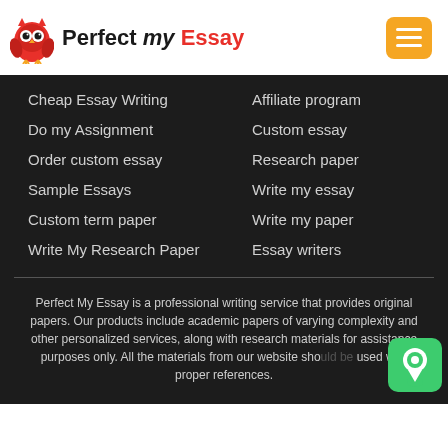[Figure (logo): Perfect My Essay logo with owl icon and brand name]
Cheap Essay Writing
Affiliate program
Do my Assignment
Custom essay
Order custom essay
Research paper
Sample Essays
Write my essay
Custom term paper
Write my paper
Write My Research Paper
Essay writers
Perfect My Essay is a professional writing service that provides original papers. Our products include academic papers of varying complexity and other personalized services, along with research materials for assistance purposes only. All the materials from our website should be used with proper references.